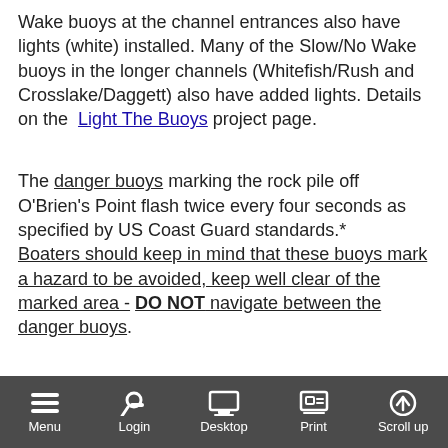Wake buoys at the channel entrances also have lights (white) installed. Many of the Slow/No Wake buoys in the longer channels (Whitefish/Rush and Crosslake/Daggett) also have added lights. Details on the Light The Buoys project page.
The danger buoys marking the rock pile off O'Brien's Point flash twice every four seconds as specified by US Coast Guard standards.* Boaters should keep in mind that these buoys mark a hazard to be avoided, keep well clear of the marked area - DO NOT navigate between the danger buoys.
You can assist us in enhancing boating safety by reporting any vandalism to buoys on the lakes – or reckless boating – to the Sheriff's Water Patrol. The telephone number is 24-829-4749.
Menu | Login | Desktop | Print | Scroll up